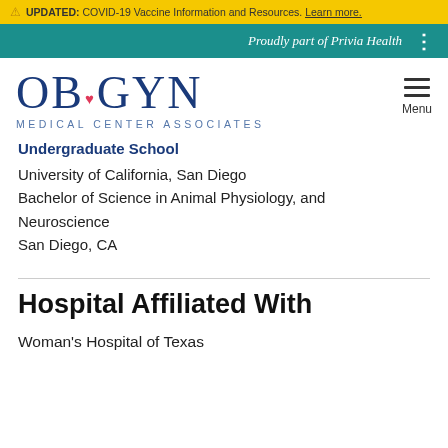⚠ UPDATED: COVID-19 Vaccine Information and Resources. Learn more.
Proudly part of Privia Health
[Figure (logo): OB GYN Medical Center Associates logo with heart symbol and teal/blue color scheme]
Undergraduate School
University of California, San Diego
Bachelor of Science in Animal Physiology, and Neuroscience
San Diego, CA
Hospital Affiliated With
Woman's Hospital of Texas